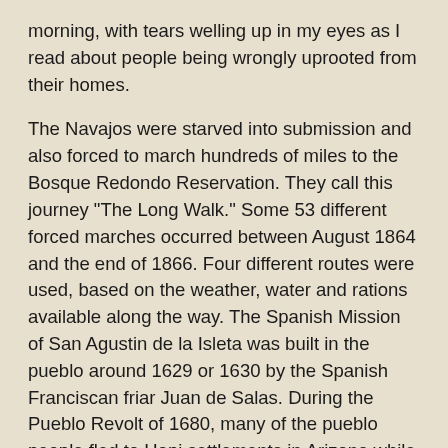morning, with tears welling up in my eyes as I read about people being wrongly uprooted from their homes.
The Navajos were starved into submission and also forced to march hundreds of miles to the Bosque Redondo Reservation. They call this journey "The Long Walk." Some 53 different forced marches occurred between August 1864 and the end of 1866. Four different routes were used, based on the weather, water and rations available along the way. The Spanish Mission of San Agustin de la Isleta was built in the pueblo around 1629 or 1630 by the Spanish Franciscan friar Juan de Salas. During the Pueblo Revolt of 1680, many of the pueblo people fled to Hopi settlements in Arizona while others followed the Spanish retreat south to El Paso del Norte, present-day El Paso. After the rebellion, the Isleta people returned to the Pueblo, many with Hopi spouses.
So much for the history lesson of injustice. That lesson seems to repeat itself and it is something I would like to see healed amongst the human species. I really would like to see the day when we all realize that there is more than